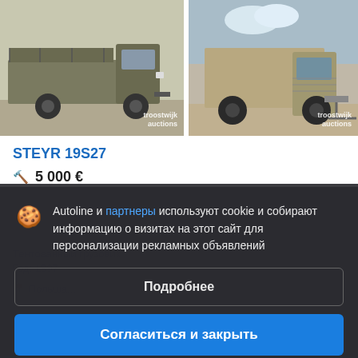[Figure (photo): Two military trucks photographed side by side. Left: olive-green Steyr flatbed truck with metal rack, watermark 'troostwijk auctions'. Right: tan/beige military truck Steyr 19S27, watermark 'troostwijk auctions'.]
STEYR 19S27
🔨 5 000 €
Тентованный грузовик
Год: 1997
Польша
Autoline и партнеры используют cookie и собирают информацию о визитах на этот сайт для персонализации рекламных объявлений
Подробнее
Продайте технику?
Согласиться и закрыть